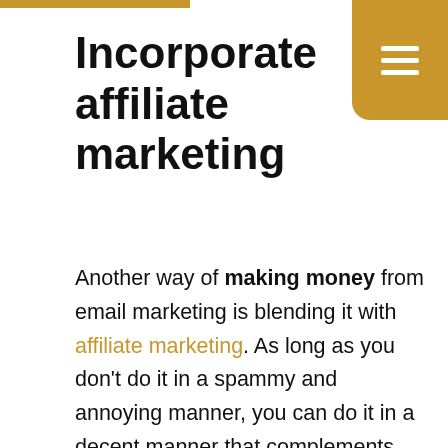Incorporate affiliate marketing
Another way of making money from email marketing is blending it with affiliate marketing. As long as you don't do it in a spammy and annoying manner, you can do it in a decent manner that complements your product.
Expand your mailing